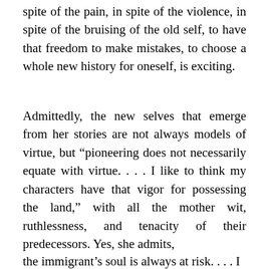spite of the pain, in spite of the violence, in spite of the bruising of the old self, to have that freedom to make mistakes, to choose a whole new history for oneself, is exciting.
Admittedly, the new selves that emerge from her stories are not always models of virtue, but “pioneering does not necessarily equate with virtue. . . . I like to think my characters have that vigor for possessing the land,” with all the mother wit, ruthlessness, and tenacity of their predecessors. Yes, she admits,
the immigrant’s soul is always at risk. . . . I